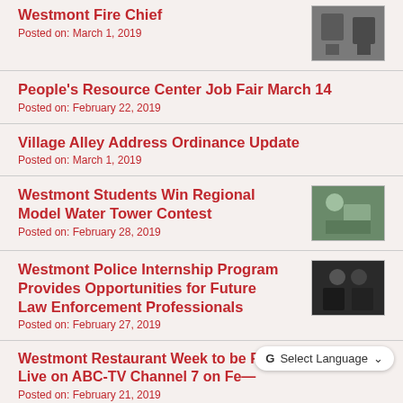Westmont Fire Chief
Posted on: March 1, 2019
[Figure (photo): Photo related to Westmont Fire Chief]
People’s Resource Center Job Fair March 14
Posted on: February 22, 2019
Village Alley Address Ordinance Update
Posted on: March 1, 2019
Westmont Students Win Regional Model Water Tower Contest
Posted on: February 28, 2019
[Figure (photo): Photo of student with model water tower]
Westmont Police Internship Program Provides Opportunities for Future Law Enforcement Professionals
Posted on: February 27, 2019
[Figure (photo): Photo of police officers]
Westmont Restaurant Week to be Featured Live on ABC-TV Channel 7 on Fe—
Posted on: February 21, 2019